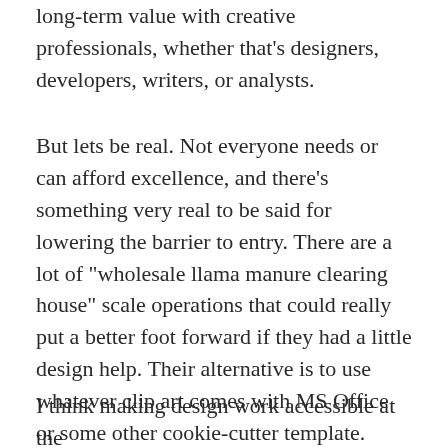long-term value with creative professionals, whether that's designers, developers, writers, or analysts.
But lets be real. Not everyone needs or can afford excellence, and there's something very real to be said for lowering the barrier to entry. There are a lot of "wholesale llama manure clearing house" scale operations that could really put a better foot forward if they had a little design help. Their alternative is to use whatever clip art comes with MS Office or some other cookie-cutter template.
I think making design work accessible at the